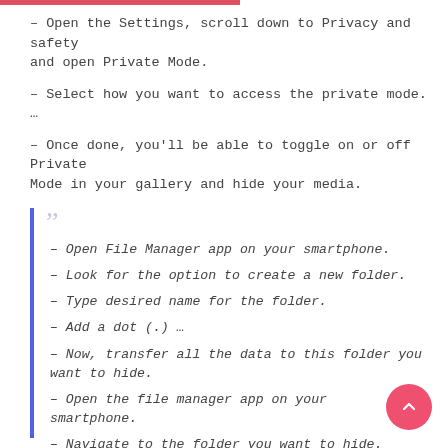– Open the Settings, scroll down to Privacy and safety and open Private Mode.
– Select how you want to access the private mode. …
– Once done, you'll be able to toggle on or off Private Mode in your gallery and hide your media.
– Open File Manager app on your smartphone.
– Look for the option to create a new folder.
– Type desired name for the folder.
– Add a dot (.) …
– Now, transfer all the data to this folder you want to hide.
– Open the file manager app on your smartphone.
– Navigate to the folder you want to hide.